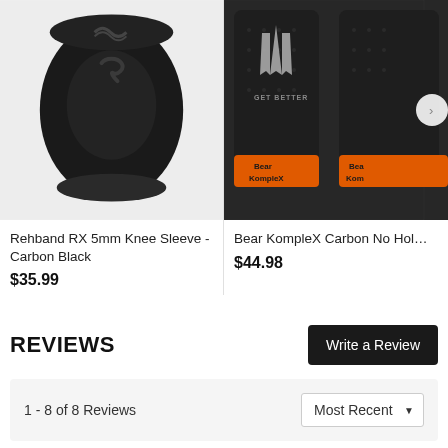[Figure (photo): Black Rehband RX 5mm Knee Sleeve - Carbon Black product image on light gray background]
[Figure (photo): Bear KompleX Carbon No Hole gloves product image on dark background with orange wrist strap, partially cropped on right]
Rehband RX 5mm Knee Sleeve - Carbon Black
$35.99
Bear KompleX Carbon No Hol…
$44.98
REVIEWS
Write a Review
1 - 8 of 8 Reviews
Most Recent